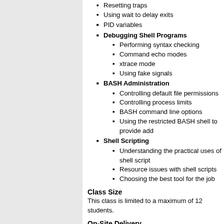Resetting traps
Using wait to delay exits
PID variables
Debugging Shell Programs
Performing syntax checking
Command echo modes
xtrace mode
Using fake signals
BASH Administration
Controlling default file permissions
Controlling process limits
BASH command line options
Using the restricted BASH shell to provide add
Shell Scripting
Understanding the practical uses of shell script
Resource issues with shell scripts
Choosing the best tool for the job
Class Size
This class is limited to a maximum of 12 students.
On-Site Delivery
This course is available for on-site delivery for groups o
OTG offers discounted training for on-site courses of m submit the form on the upper right side of this page) fo
Course Details
This course is delivered by one of our Subject Matter E is a combination of hands-on exercises and lecture.
Instructional Materials
The following materials are used to deliver this course:
OTG Course Guide
Learning the bash shell (O'Reilly &amp; Associates)
[Figure (other): PDF icon]